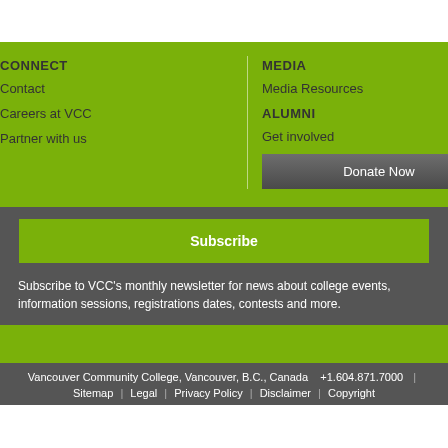CONNECT
Contact
Careers at VCC
Partner with us
MEDIA
Media Resources
ALUMNI
Get involved
Donate Now
Subscribe
Subscribe to VCC's monthly newsletter for news about college events, information sessions, registrations dates, contests and more.
Vancouver Community College, Vancouver, B.C., Canada   +1.604.871.7000  |  Sitemap  |  Legal  |  Privacy Policy  |  Disclaimer  |  Copyright